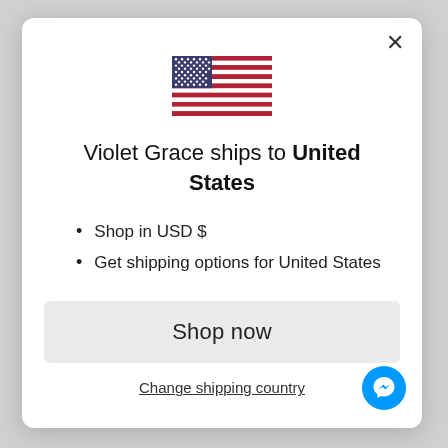[Figure (illustration): US flag emoji/icon centered at top of modal]
Violet Grace ships to United States
Shop in USD $
Get shipping options for United States
Shop now
Change shipping country